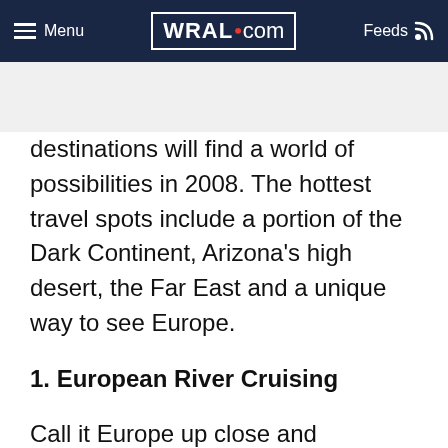Menu | WRAL.com | Feeds
destinations will find a world of possibilities in 2008. The hottest travel spots include a portion of the Dark Continent, Arizona's high desert, the Far East and a unique way to see Europe.
1. European River Cruising
Call it Europe up close and personal. Small ship river cruises are a different way to